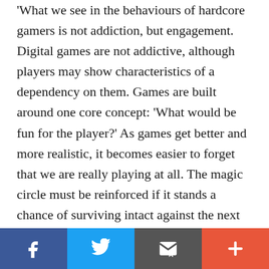What we see in the behaviours of hardcore gamers is not addiction, but engagement. Digital games are not addictive, although players may show characteristics of a dependency on them. Games are built around one core concept: 'What would be fun for the player?' As games get better and more realistic, it becomes easier to forget that we are really playing at all. The magic circle must be reinforced if it stands a chance of surviving intact against the next generation of ultra-immersive games. Gamers can only be protected from psychological addiction to these games if the notion that they are 'just playing' is constantly reinforced. A player's double-consciousness should actually make
Social share bar: Facebook, Twitter, Email, Plus